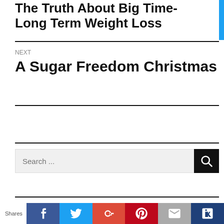The Truth About Big Time-Long Term Weight Loss
NEXT
A Sugar Freedom Christmas
Search ...
Shares